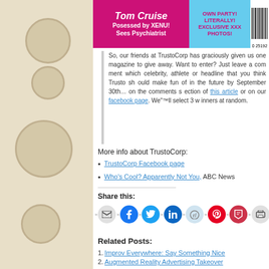[Figure (photo): Magazine cover banner showing Tom Cruise headline 'Posessed by XENU! Sees Psychiatrist' on pink background and 'OWN PARTY! LITERALLY! EXCLUSIVE XXX PHOTOS!' on blue background with barcode]
So, our friends at TrustoCorp has graciously given us one magazine to give away. Want to enter? Just leave a comment which celebrity, athlete or headline that you think Trusto should make fun of in the future by September 30th… on the comments section of this article or on our facebook page. We"™ll select 3 winners at random.
More info about TrustoCorp:
TrustoCorp Facebook page
Who's Cool? Apparently Not You, ABC News
Share this:
[Figure (infographic): Row of social media share icons: email, Facebook, Twitter, LinkedIn, Reddit, Pinterest, Pocket, Print]
Related Posts:
Improv Everywhere: Say Something Nice
Augmented Reality Advertising Takeover